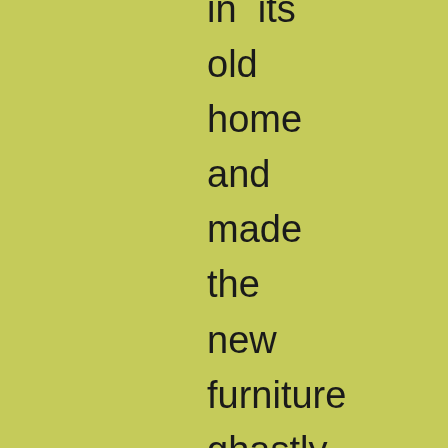in its old home and made the new furniture ghastly. Nothing in the world more subtle than the process of their